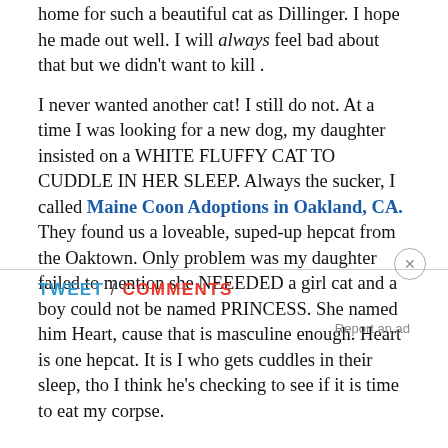home for such a beautiful cat as Dillinger. I hope he made out well. I will always feel bad about that but we didn't want to kill .
I never wanted another cat! I still do not. At a time I was looking for a new dog, my daughter insisted on a WHITE FLUFFY CAT TO CUDDLE IN HER SLEEP. Always the sucker, I called Maine Coon Adoptions in Oakland, CA. They found us a loveable, suped-up hepcat from the Oaktown. Only problem was my daughter failed to mention she NEEEDED a girl cat and a boy could not be named PRINCESS. She named him Heart, cause that is masculine enough. Heart is one hepcat. It is I who gets cuddles in their sleep, tho I think he's checking to see if it is time to eat my corpse.
TWEET / COMMENTS
Report an ad